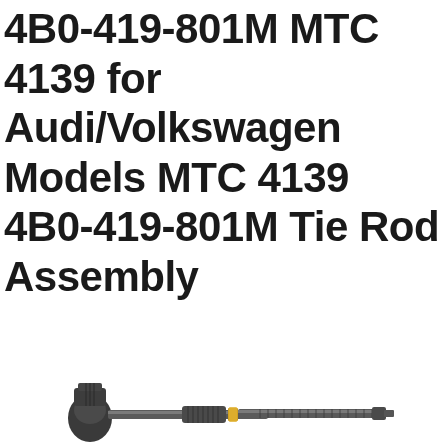4B0-419-801M MTC 4139 for Audi/Volkswagen Models MTC 4139 4B0-419-801M Tie Rod Assembly
[Figure (photo): Photograph of a tie rod assembly part (4B0-419-801M MTC 4139) showing a dark metal rod with ball joint end and threaded adjustable sections, typical automotive steering component]